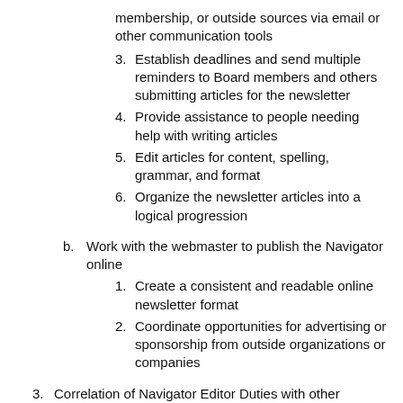membership, or outside sources via email or other communication tools
3. Establish deadlines and send multiple reminders to Board members and others submitting articles for the newsletter
4. Provide assistance to people needing help with writing articles
5. Edit articles for content, spelling, grammar, and format
6. Organize the newsletter articles into a logical progression
b. Work with the webmaster to publish the Navigator online
1. Create a consistent and readable online newsletter format
2. Coordinate opportunities for advertising or sponsorship from outside organizations or companies
3. Correlation of Navigator Editor Duties with other